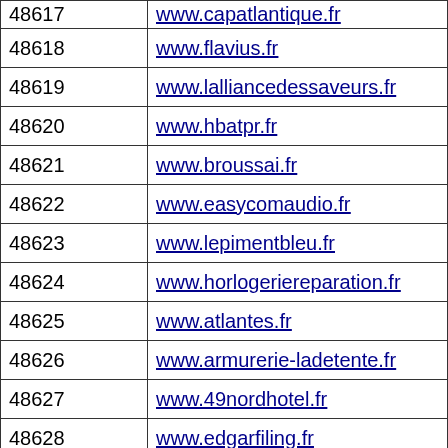| ID | URL |
| --- | --- |
| 48617 | www.capatlantique.fr |
| 48618 | www.flavius.fr |
| 48619 | www.lalliancedessaveurs.fr |
| 48620 | www.hbatpr.fr |
| 48621 | www.broussai.fr |
| 48622 | www.easycomaudio.fr |
| 48623 | www.lepimentbleu.fr |
| 48624 | www.horlogeriereparation.fr |
| 48625 | www.atlantes.fr |
| 48626 | www.armurerie-ladetente.fr |
| 48627 | www.49nordhotel.fr |
| 48628 | www.edgarfiling.fr |
| 48629 | www.ouiplay.fr |
| 48630 | www.doorwindowhardware.fr |
| 48631 | www.aureliapirson.fr |
| 48632 | www.publycom.fr |